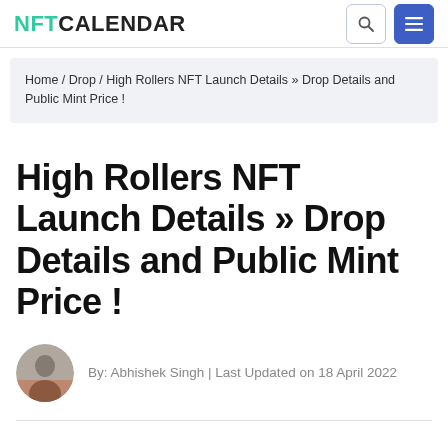NFTCALENDAR
Home / Drop / High Rollers NFT Launch Details » Drop Details and Public Mint Price !
High Rollers NFT Launch Details » Drop Details and Public Mint Price !
By: Abhishek Singh | Last Updated on 18 April 2022